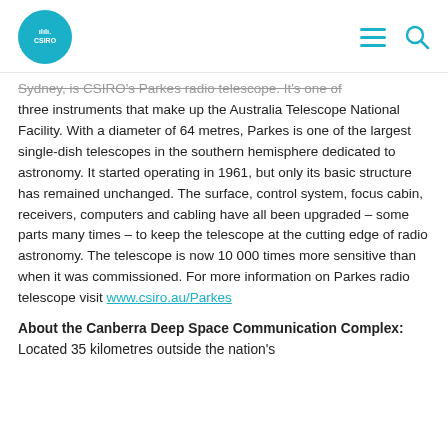CSIRO logo, hamburger menu, search icon
Sydney, is CSIRO's Parkes radio telescope. It's one of three instruments that make up the Australia Telescope National Facility. With a diameter of 64 metres, Parkes is one of the largest single-dish telescopes in the southern hemisphere dedicated to astronomy. It started operating in 1961, but only its basic structure has remained unchanged. The surface, control system, focus cabin, receivers, computers and cabling have all been upgraded – some parts many times – to keep the telescope at the cutting edge of radio astronomy. The telescope is now 10 000 times more sensitive than when it was commissioned. For more information on Parkes radio telescope visit www.csiro.au/Parkes
About the Canberra Deep Space Communication Complex: Located 35 kilometres outside the nation's